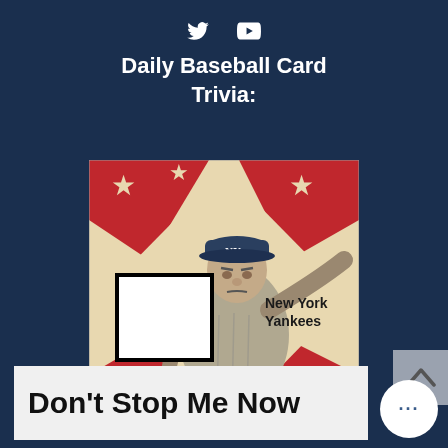[Figure (logo): Twitter and YouTube social media icons in white on dark navy background]
Daily Baseball Card Trivia:
[Figure (photo): Vintage baseball card showing a New York Yankees pitcher in throwing pose with red and cream background featuring stars. A white square box covers the player's name on the left side. Text reads 'New York Yankees' on the right.]
Don't Stop Me Now